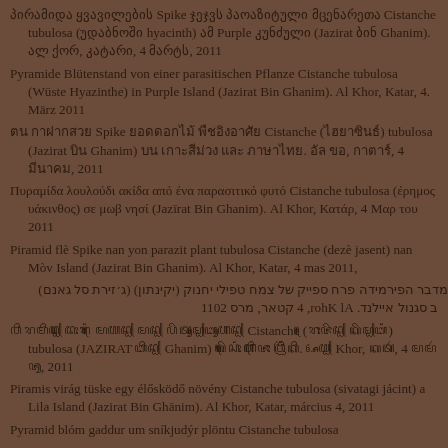პირამიდა ყვავილების Spike ჯეჯვს პაოაზიტული მცენარეთა Cistanche tubulosa (უდაბნოში hyacinth) ამ Purple კუნძული (Jazirat ბინ Ghanim). ალ ქორ, კატარი, 4 მარტს, 2011
Pyramide Blütenstand von einer parasitischen Pflanze Cistanche tubulosa (Wüste Hyazinthe) in Purple Island (Jazirat Bin Ghanim). Al Khor, Katar, 4. März 2011
ตน กาฝากสวย Spike ยอดดอกไม้ พืชอิงอาศัย Cistanche (ไฮยาซินธ์) tubulosa (Jazirat บิน Ghanim) บน เกาะสีม่วง และ ภาษาไทย. อัล ขอ, กาตาร์, 4 มีนาคม, 2011
Πυραμίδα λουλούδι ακίδα από ένα παρασιτικό φυτό Cistanche tubulosa (έρημος υάκινθος) σε μωβ νησί (Jazīrat Bin Ghanim). Al Khor, Κατάρ, 4 Μαρ του 2011
Piramid flè Spike nan yon parazit plant tubulosa Cistanche (dezè jasent) nan Mòv Island (Jazirat Bin Ghanim). Al Khor, Katar, 4 mas 2011,
במדבר הפירמידה פרח ספייק של צמח טפילי יחנוק (יקינתון) (ג׳זירת סל גאנם) ב סגנול איילנד. Al Khor, 4 קטאר, מרס 2011
ꦥꦶꦫꦩꦶꦢ꧀ ꦢꦺꦴꦫꦁ ꦩꦺꦭꦤ꧀ ꦩꦤ꧀ ꦥꦼꦠꦸꦩ꧀ꦧꦸꦲꦤ꧀ Cistanche (ꦫꦺꦴꦗꦼꦤ꧀ ꦏꦼꦩ꧀ꦧꦁ) tubulosa (JAZIRAT ꦧꦶꦤ꧀ Ghanim) ꦒꦼꦕꦺꦴꦁ ꦲꦶꦗꦺꦴ ꦮꦿꦶꦁꦏꦶ. ꦄꦭ꧀ Khor, ꦏꦠꦂ, 4 ꦩꦩꦂꦗꦸ, 2011
Piramis virág tüske egy élősködő növény Cistanche tubulosa (sivatagi jácint) a Lila Island (Jazirat Bin Ghānim). Al Khor, Katar, március 4, 2011
Pyramid blóm gaddur um sníkjudýr plöntu Cistanche tubulosa